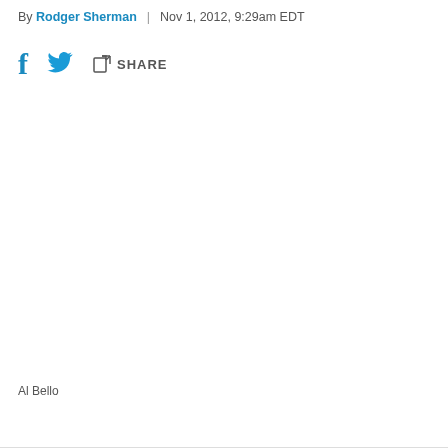By Rodger Sherman | Nov 1, 2012, 9:29am EDT
[Figure (other): Social share bar with Facebook icon, Twitter bird icon, and share button with SHARE label]
Al Bello